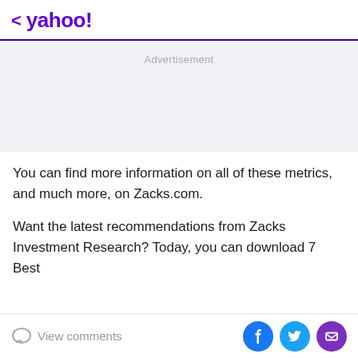< yahoo!
Advertisement
You can find more information on all of these metrics, and much more, on Zacks.com.
Want the latest recommendations from Zacks Investment Research? Today, you can download 7 Best
View comments